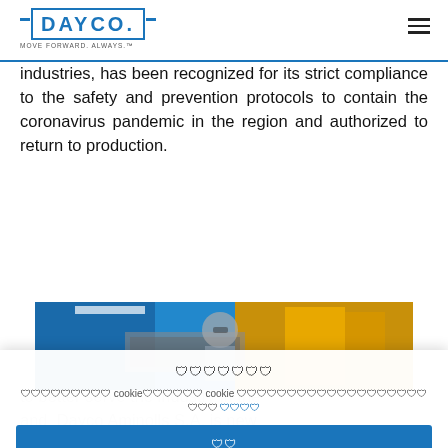DAYCO. MOVE FORWARD. ALWAYS.™
industries, has been recognized for its strict compliance to the safety and prevention protocols to contain the coronavirus pandemic in the region and authorized to return to production.
[Figure (photo): Worker in safety goggles working with industrial machinery in a factory with blue and yellow equipment]
ตั้งค่า
เว็บไซต์นี้ cookie เหล่านี้ cookie เพื่อให้ประสบการณ์ที่ดีที่สุด นโยบาย
ยอมรับ
ปฏิเสธ
ตั้งค่า
to better serve the industry in the and Dayco Aminolls S.A. is new